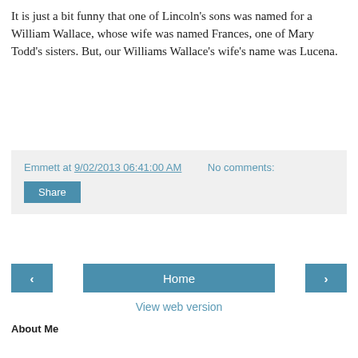It is just a bit funny that one of Lincoln's sons was named for a William Wallace, whose wife was named Frances, one of Mary Todd's sisters. But, our Williams Wallace's wife's name was Lucena.
Emmett at 9/02/2013 06:41:00 AM   No comments:
Share
‹  Home  ›
View web version
About Me
Emmett
emmettoconnell (at) gmail .dot. com
View my complete profile
Powered by Blogger.